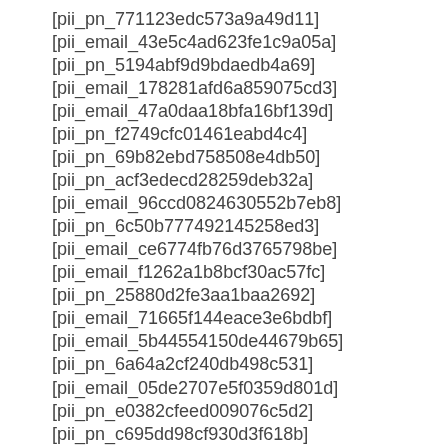[pii_pn_771123edc573a9a49d11]
[pii_email_43e5c4ad623fe1c9a05a]
[pii_pn_5194abf9d9bdaedb4a69]
[pii_email_178281afd6a859075cd3]
[pii_email_47a0daa18bfa16bf139d]
[pii_pn_f2749cfc01461eabd4c4]
[pii_pn_69b82ebd758508e4db50]
[pii_pn_acf3edecd28259deb32a]
[pii_email_96ccd0824630552b7eb8]
[pii_pn_6c50b777492145258ed3]
[pii_email_ce6774fb76d3765798be]
[pii_email_f1262a1b8bcf30ac57fc]
[pii_pn_25880d2fe3aa1baa2692]
[pii_email_71665f144eace3e6bdbf]
[pii_email_5b44554150de44679b65]
[pii_pn_6a64a2cf240db498c531]
[pii_email_05de2707e5f0359d801d]
[pii_pn_e0382cfeed009076c5d2]
[pii_pn_c695dd98cf930d3f618b]